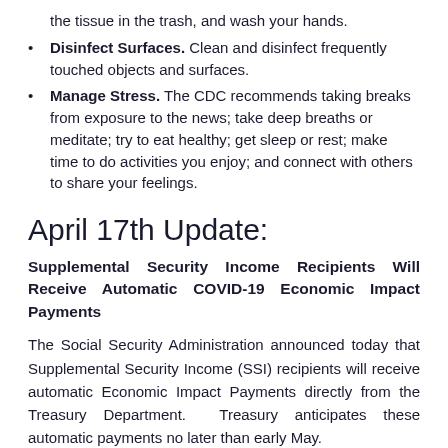the tissue in the trash, and wash your hands.
Disinfect Surfaces. Clean and disinfect frequently touched objects and surfaces.
Manage Stress. The CDC recommends taking breaks from exposure to the news; take deep breaths or meditate; try to eat healthy; get sleep or rest; make time to do activities you enjoy; and connect with others to share your feelings.
April 17th Update:
Supplemental Security Income Recipients Will Receive Automatic COVID-19 Economic Impact Payments
The Social Security Administration announced today that Supplemental Security Income (SSI) recipients will receive automatic Economic Impact Payments directly from the Treasury Department. Treasury anticipates these automatic payments no later than early May.